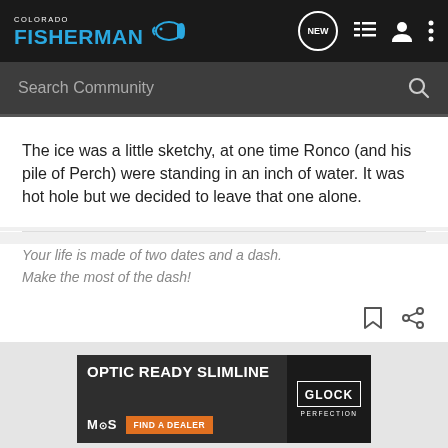COLORADO FISHERMAN — NEW (icon) list (icon) user (icon) more (icon)
Search Community
The ice was a little sketchy, at one time Ronco (and his pile of Perch) were standing in an inch of water. It was hot hole but we decided to leave that one alone.
Your life is made of two dates and a dash.
Make the most of the dash!
[Figure (screenshot): OPTIC READY SLIMLINE advertisement banner — MOS brand, FIND A DEALER button, Glock Perfection logo, handgun image on dark background]